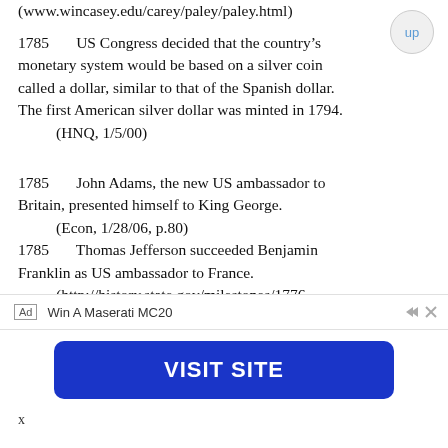(www.wincasey.edu/carey/paley/paley.html)
1785 US Congress decided that the country’s monetary system would be based on a silver coin called a dollar, similar to that of the Spanish dollar. The first American silver dollar was minted in 1794.
    (HNQ, 1/5/00)
1785 John Adams, the new US ambassador to Britain, presented himself to King George.
    (Econ, 1/28/06, p.80)
1785 Thomas Jefferson succeeded Benjamin Franklin as US ambassador to France.
    (http://history.state.gov/milestones/1776-1783/BFranklin)
1785 The American Continental Congress’ Land Grant Act of 1785 set aside land for schools. In anticipation of the country expanding
Ad   Win A Maserati MC20
[Figure (other): Blue VISIT SITE advertisement button]
x